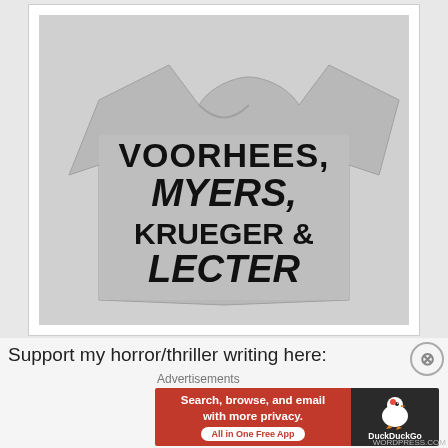[Figure (photo): A gray heather t-shirt with bold black text reading VOORHEES, MYERS, KRUEGER & LECTER — referencing famous horror movie villains]
Support my horror/thriller writing here:
Advertisements
[Figure (screenshot): DuckDuckGo advertisement banner: red left side with text 'Search, browse, and email with more privacy. All in One Free App', dark right side with DuckDuckGo duck logo and 'DuckDuckGo' text]